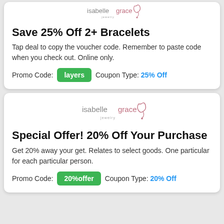[Figure (logo): Isabelle Grace Jewelry logo (partial, top of card 1)]
Save 25% Off 2+ Bracelets
Tap deal to copy the voucher code. Remember to paste code when you check out. Online only.
Promo Code: layers   Coupon Type: 25% Off
[Figure (logo): Isabelle Grace Jewelry logo]
Special Offer! 20% Off Your Purchase
Get 20% away your get. Relates to select goods. One particular for each particular person.
Promo Code: 20%offer   Coupon Type: 20% Off